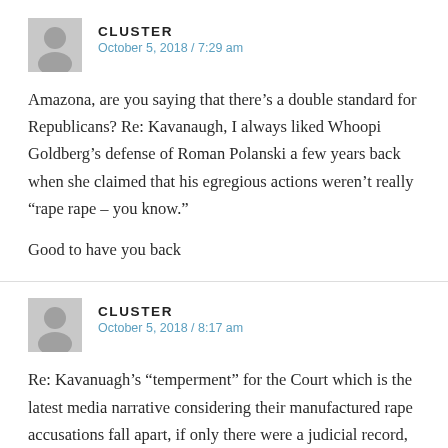CLUSTER
October 5, 2018 / 7:29 am
Amazona, are you saying that there’s a double standard for Republicans? Re: Kavanaugh, I always liked Whoopi Goldberg’s defense of Roman Polanski a few years back when she claimed that his egregious actions weren’t really “rape rape – you know.”
Good to have you back
CLUSTER
October 5, 2018 / 8:17 am
Re: Kavanuagh’s “temperment” for the Court which is the latest media narrative considering their manufactured rape accusations fall apart, if only there were a judicial record, say...